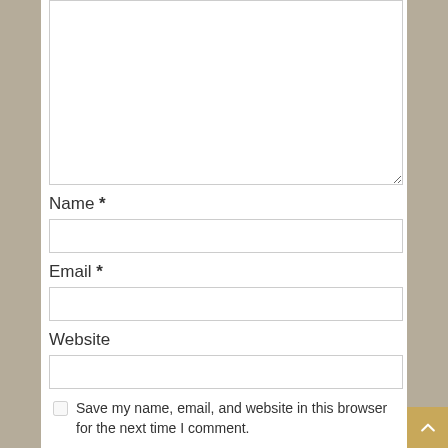[Comment textarea]
Name *
Email *
Website
Save my name, email, and website in this browser for the next time I comment.
Notify me of follow-up comments by